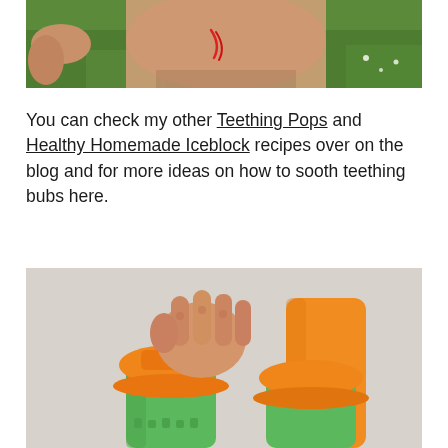[Figure (photo): Child lying on grass outdoors, shirtless, viewed from above with a red mark on their torso]
You can check my other Teething Pops and Healthy Homemade Iceblock recipes over on the blog and for more ideas on how to sooth teething bubs here.
[Figure (photo): Close-up of a child's hand holding green and orange popsicle/iceblock molds, with orange frozen treats visible]